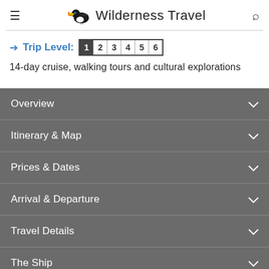Wilderness Travel
Trip Level: 1 2 3 4 5 6
14-day cruise, walking tours and cultural explorations
Overview
Itinerary & Map
Prices & Dates
Arrival & Departure
Travel Details
The Ship
What the Trip is Like
Share this Trip